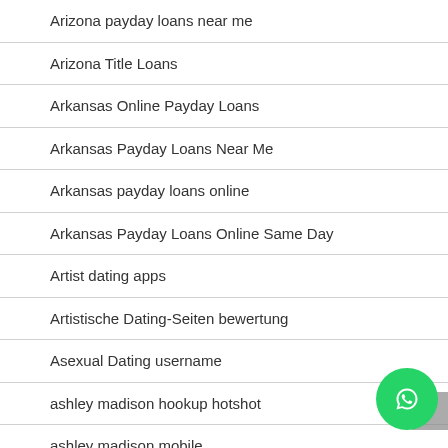Arizona payday loans near me
Arizona Title Loans
Arkansas Online Payday Loans
Arkansas Payday Loans Near Me
Arkansas payday loans online
Arkansas Payday Loans Online Same Day
Artist dating apps
Artistische Dating-Seiten bewertung
Asexual Dating username
ashley madison hookup hotshot
ashley madison mobile
ashley madison search